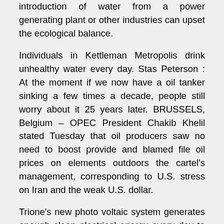introduction of water from a power generating plant or other industries can upset the ecological balance.
Individuals in Kettleman Metropolis drink unhealthy water every day. Stas Peterson : At the moment if we now have a oil tanker sinking a few times a decade, people still worry about it 25 years later. BRUSSELS, Belgium – OPEC President Chakib Khelil stated Tuesday that oil producers saw no need to boost provide and blamed file oil prices on elements outdoors the cartel's management, corresponding to U.S. stress on Iran and the weak U.S. dollar.
Trione's new photo voltaic system generates enough clean electrical energy every day to power 17 average houses. Many people discover that a weight loss program comparatively high in meat and other animal merchandise helps them lower psychic oversensitivity; Do-In work on your feet, to assist drain extra power by the foot centers, would even be useful.
The north face of Two World Commerce Heart (south tower) instantly after being struck by United Airways Flight one hundred seventy five. The vegetation preserve the oxygen content of the